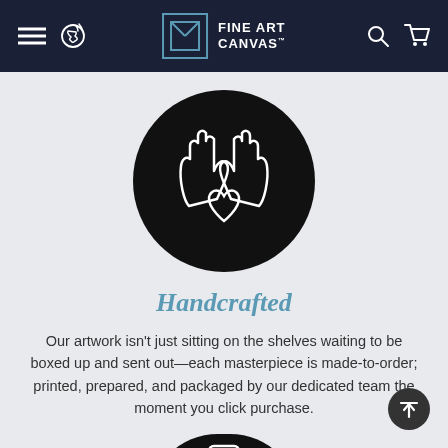[Figure (screenshot): Fine Art Canvas website navigation bar with dark navy background, hamburger menu, phone icon on left, Fine Art Canvas logo in center, search and cart icons on right]
[Figure (illustration): Black circle containing white outline illustration of two hands forming a heart shape with fingers spread]
Handcrafted
Our artwork isn't just sitting on the shelves waiting to be boxed up and sent out—each masterpiece is made-to-order; printed, prepared, and packaged by our dedicated team the moment you click purchase.
[Figure (illustration): Partial black circle at bottom of page containing white outline illustration of a briefcase or suitcase icon]